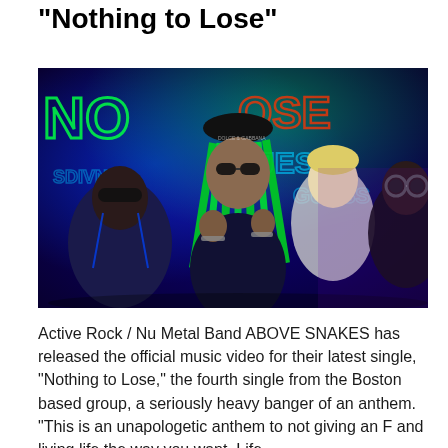“Nothing to Lose”
[Figure (photo): Band photo of ABOVE SNAKES — four members posed in front of neon-lit graffiti background with bright green, blue, and purple neon lights. Center member has bright green dreadlocks, a black cap, and Dolce & Gabbana glasses. Other members wear sunglasses and branded streetwear. Background shows neon text including 'NO' and 'OSE'.]
Active Rock / Nu Metal Band ABOVE SNAKES has released the official music video for their latest single, “Nothing to Lose,” the fourth single from the Boston based group, a seriously heavy banger of an anthem. “This is an unapologetic anthem to not giving an F and living life the way you want. Life